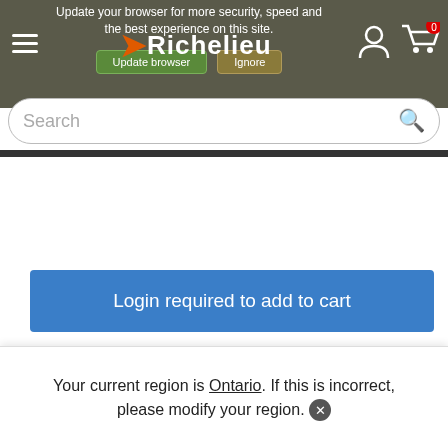Update your browser for more security, speed and the best experience on this site. [Update browser] [Ignore]
[Figure (logo): Richelieu logo with orange arrow, hamburger menu, user icon, and cart icon with badge '0']
[Figure (screenshot): Search bar with placeholder text 'Search' and magnifier icon]
Box
1
Login required to add to cart
Your current region is Ontario. If this is incorrect, please modify your region.